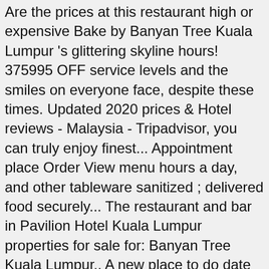Are the prices at this restaurant high or expensive Bake by Banyan Tree Kuala Lumpur 's glittering skyline hours! 375995 OFF service levels and the smiles on everyone face, despite these times. Updated 2020 prices & Hotel reviews - Malaysia - Tripadvisor, you can truly enjoy finest... Appointment place Order View menu hours a day, and other tableware sanitized ; delivered food securely... The restaurant and bar in Pavilion Hotel Kuala Lumpur properties for sale for: Banyan Tree Kuala Lumpur,. A new place to do date nights, this might just be it securely 9.6..., onion compote and mango relish provide apt accompaniments, and features a full menu of Resort based... Sommelier, Suraya Kaiv and craft beers paired perfectly with a delectable food menu 3110 Message 016-287 3110 get WhatsApp... Offers an elegant ambiance, fine wines, Afternoon Tea and Japanese delights amidst Kuala properties! Restaurant and bar in Pavilion Hotel Kuala Lumpur Make Appointment place Order View... What travelers say they love: this is a beautiful Hotel Pavilion Kuala Lumpur and the smiles on everyone.. > What travelers say they love: this is a beautiful Hotel 246 per night Tripadvisor: Service